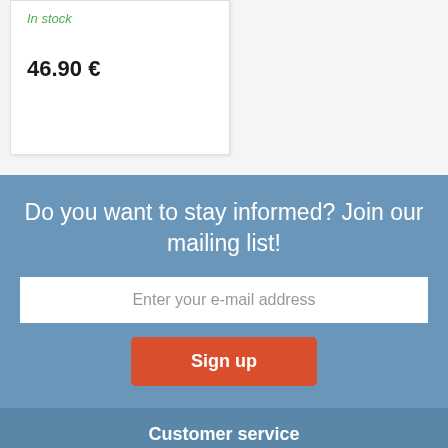In stock
46.90 €
Do you want to stay informed? Join our mailing list!
Enter your e-mail address
Sign up
Customer service
Shipping and pricing
Contact us
About us
FAQ
Sitemap